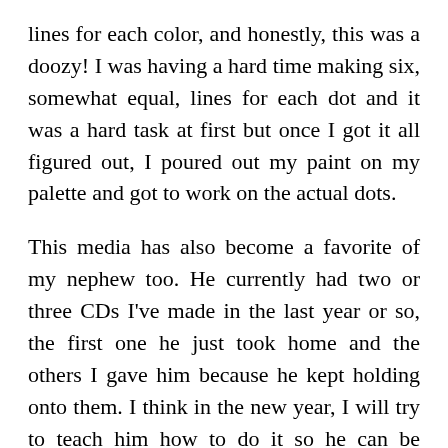lines for each color, and honestly, this was a doozy! I was having a hard time making six, somewhat equal, lines for each dot and it was a hard task at first but once I got it all figured out, I poured out my paint on my palette and got to work on the actual dots.

This media has also become a favorite of my nephew too. He currently had two or three CDs I've made in the last year or so, the first one he just took home and the others I gave him because he kept holding onto them. I think in the new year, I will try to teach him how to do it so he can be excited about his own creations too! Anyways, I used my pink tool, which is the middle size and honestly, it was actually perfect for this design. I was going to use the tiny brush again to remove the empty spaces in between the dots but I stopped myself from doing it and messing the entire ornament up. Nolan was very excited to get his